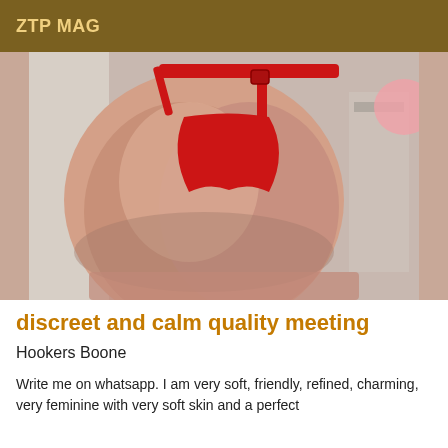ZTP MAG
[Figure (photo): Close-up photo of a person wearing red lingerie/underwear, shot from behind.]
discreet and calm quality meeting
Hookers Boone
Write me on whatsapp. I am very soft, friendly, refined, charming, very feminine with very soft skin and a perfect